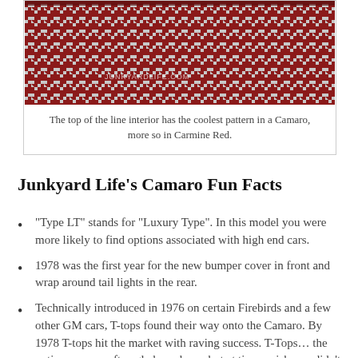[Figure (photo): Close-up photo of a red and white houndstooth interior fabric pattern in a Camaro, with watermark 'JUNKYARDLIFE.COM']
The top of the line interior has the coolest pattern in a Camaro, more so in Carmine Red.
Junkyard Life’s Camaro Fun Facts
“Type LT” stands for “Luxury Type”. In this model you were more likely to find options associated with high end cars.
1978 was the first year for the new bumper cover in front and wrap around tail lights in the rear.
Technically introduced in 1976 on certain Firebirds and a few other GM cars, T-tops found their way onto the Camaro. By 1978 T-tops hit the market with raving success. T-Tops… the option you are often glad you have, but at times wish you didn’t. They were prone to leak and the car required proper storage or the rust